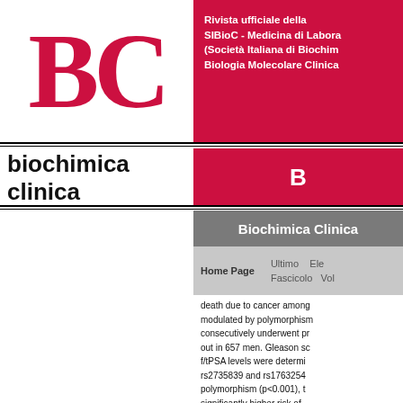[Figure (logo): BC logo in red serif font, large letters B and C]
biochimica clinica
Rivista ufficiale della SIBioC - Medicina di Laboratorio (Società Italiana di Biochimica Clinica e Biologia Molecolare Clinica)
Biochimica Clinica
Home Page  Ultimo  Ele
Fascicolo  Volo
death due to cancer among modulated by polymorphism consecutively underwent pro out in 657 men. Gleason sc f/tPSA levels were determi rs2735839 and rs1763254 polymorphism (p<0.001), t significantly higher risk of increased tPSA (p<0.001)